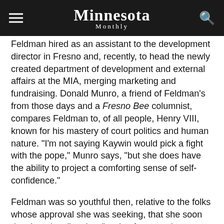Minnesota Monthly
Feldman hired as an assistant to the development director in Fresno and, recently, to head the newly created department of development and external affairs at the MIA, merging marketing and fundraising. Donald Munro, a friend of Feldman’s from those days and a Fresno Bee columnist, compares Feldman to, of all people, Henry VIII, known for his mastery of court politics and human nature. “I’m not saying Kaywin would pick a fight with the pope,” Munro says, “but she does have the ability to project a comforting sense of self-confidence.”
Feldman was so youthful then, relative to the folks whose approval she was seeking, that she soon developed an “ageless” style of comporting herself, Standish says. Not young, not old, just competent…